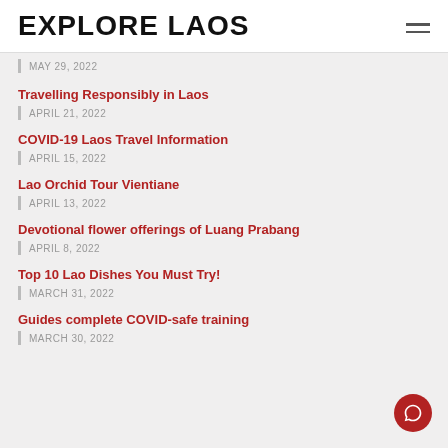EXPLORE LAOS
MAY 29, 2022
Travelling Responsibly in Laos
APRIL 21, 2022
COVID-19 Laos Travel Information
APRIL 15, 2022
Lao Orchid Tour Vientiane
APRIL 13, 2022
Devotional flower offerings of Luang Prabang
APRIL 8, 2022
Top 10 Lao Dishes You Must Try!
MARCH 31, 2022
Guides complete COVID-safe training
MARCH 30, 2022